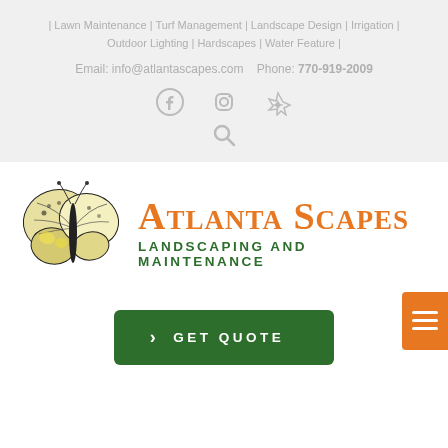| Lawn Maintenance | Turf Management | Landscape Design | Irrigation | Outdoor Lighting | Hardscapes | Water Feature |
Email: info@atlantascapes.com   Phone: 770-919-2009
[Figure (infographic): Social media icons: Facebook, Instagram, Yelp, and a search icon]
[Figure (logo): Atlanta Scapes Landscaping and Maintenance logo with butterfly illustration]
GET QUOTE